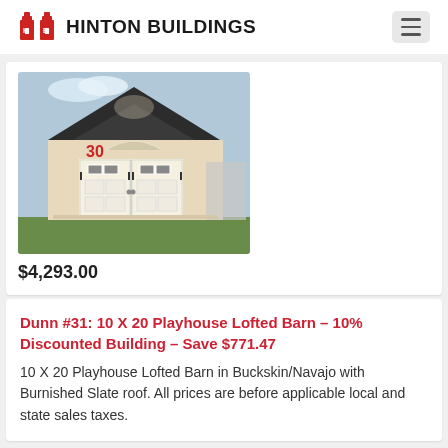HB HINTON BUILDINGS
[Figure (photo): Photo of a lofted barn shed in beige/cream color with white double doors featuring small windows, black roof, number 30 in red on the door. Building is on display outdoors.]
$4,293.00
Dunn #31: 10 X 20 Playhouse Lofted Barn – 10% Discounted Building – Save $771.47
10 X 20 Playhouse Lofted Barn in Buckskin/Navajo with Burnished Slate roof. All prices are before applicable local and state sales taxes.